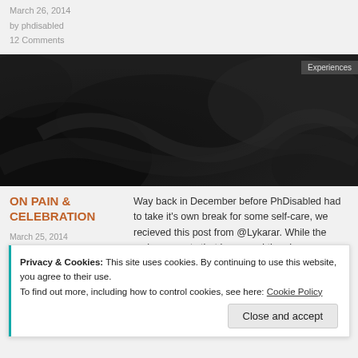March 26, 2014
by phdisabled
12 Comments
[Figure (photo): Dark moody photograph with shadowy abstract shapes, with 'Experiences' badge in top-right corner]
ON PAIN & CELEBRATION
March 25, 2014
by phdisabled
2 Comments
Way back in December before PhDisabled had to take it's own break for some self-care, we recieved this post from @Lykarar. While the various events that happened then have now [...]
Privacy & Cookies: This site uses cookies. By continuing to use this website, you agree to their use.
To find out more, including how to control cookies, see here: Cookie Policy

Close and accept